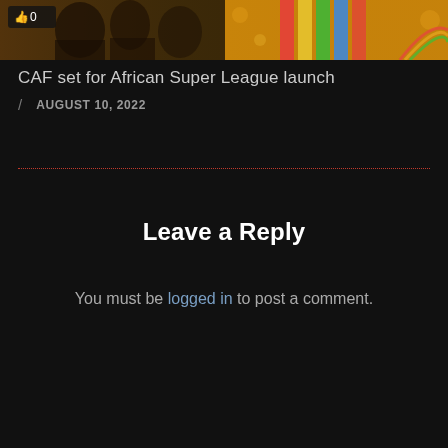[Figure (photo): Thumbnail image strip showing two partially visible photos side by side on a dark golden bokeh background, with a like/thumbs-up badge showing '0' in the top-left corner.]
CAF set for African Super League launch
/ AUGUST 10, 2022
Leave a Reply
You must be logged in to post a comment.